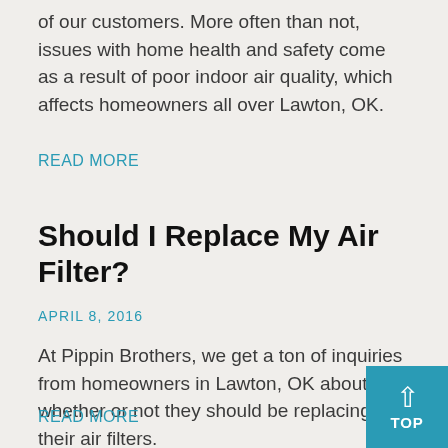of our customers. More often than not, issues with home health and safety come as a result of poor indoor air quality, which affects homeowners all over Lawton, OK.
READ MORE
Should I Replace My Air Filter?
APRIL 8, 2016
At Pippin Brothers, we get a ton of inquiries from homeowners in Lawton, OK about whether or not they should be replacing their air filters.
READ MORE